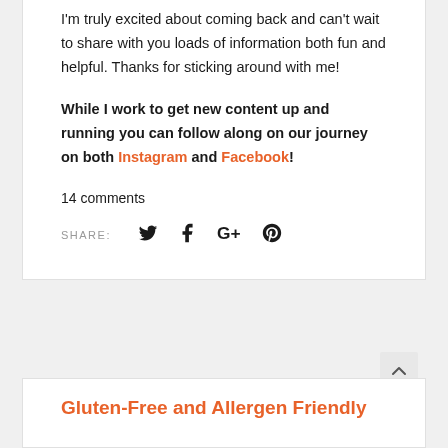I'm truly excited about coming back and can't wait to share with you loads of information both fun and helpful. Thanks for sticking around with me!
While I work to get new content up and running you can follow along on our journey on both Instagram and Facebook!
14 comments
SHARE:
Gluten-Free and Allergen Friendly